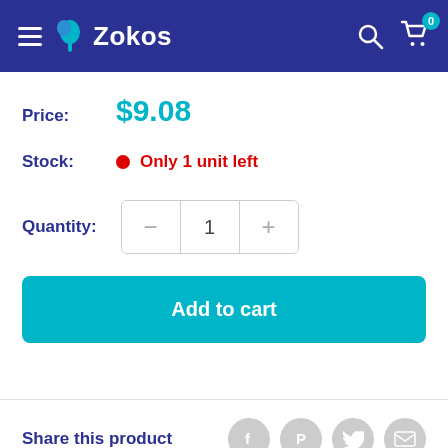Zokos
Price: $9.08
Stock: Only 1 unit left
Quantity: 1
Add to cart
Share this product